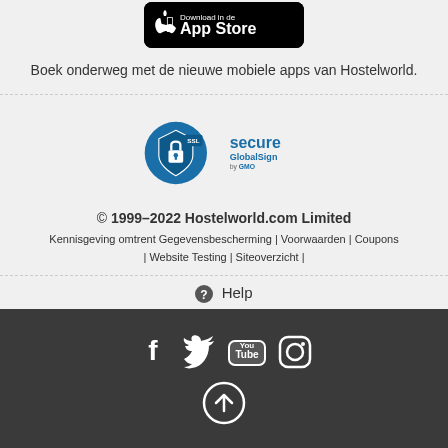[Figure (logo): Apple App Store download button (black rounded rectangle with Apple logo and 'App Store' text)]
Boek onderweg met de nieuwe mobiele apps van Hostelworld.
[Figure (logo): SSL Secure GlobalSign by GMO badge with padlock icon]
© 1999–2022 Hostelworld.com Limited
Kennisgeving omtrent Gegevensbescherming | Voorwaarden | Coupons | Website Testing | Siteoverzicht |
❓ Help
[Figure (logo): Social media icons: Facebook, Twitter, YouTube, Instagram, and an up-arrow circle icon]